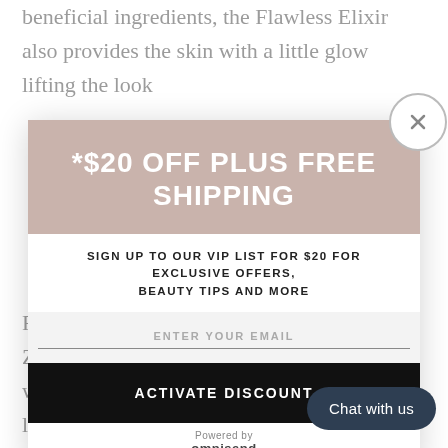beneficial ingredients, the Flawless Elixir also provides the skin with a little glow lifting the look
[Figure (screenshot): Modal popup with promotional offer: *$20 OFF PLUS FREE SHIPPING banner, subtext 'SIGN UP TO OUR VIP LIST FOR $20 FOR EXCLUSIVE OFFERS, BEAUTY TIPS AND MORE', email input field, ACTIVATE DISCOUNT button, Powered by omnisend footer. Close X button top right. Background shows partial article text.]
Facial Oil can be used daily on cle... Zuanna's Virgin Rose To... with Zuanna's Virgin Rose, spritz Hydrosol lightly on